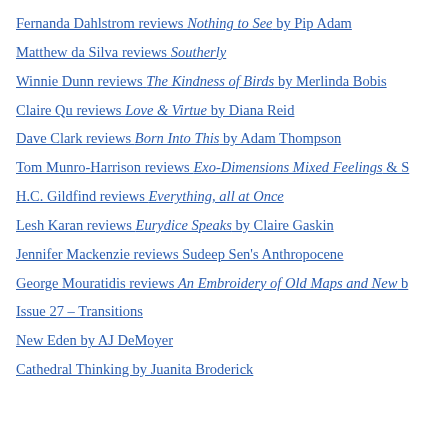Fernanda Dahlstrom reviews Nothing to See by Pip Adam
Matthew da Silva reviews Southerly
Winnie Dunn reviews The Kindness of Birds by Merlinda Bobis
Claire Qu reviews Love & Virtue by Diana Reid
Dave Clark reviews Born Into This by Adam Thompson
Tom Munro-Harrison reviews Exo-Dimensions Mixed Feelings & S
H.C. Gildfind reviews Everything, all at Once
Lesh Karan reviews Eurydice Speaks by Claire Gaskin
Jennifer Mackenzie reviews Sudeep Sen's Anthropocene
George Mouratidis reviews An Embroidery of Old Maps and New b
Issue 27 – Transitions
New Eden by AJ DeMoyer
Cathedral Thinking by Juanita Broderick